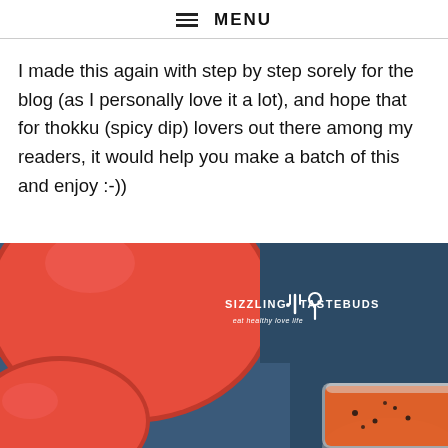≡ MENU
I made this again with step by step sorely for the blog (as I personally love it a lot), and hope that for thokku (spicy dip) lovers out there among my readers, it would help you make a batch of this and enjoy :-))
[Figure (photo): Close-up photo of red tomatoes on a dark blue background with a glass jar of red tomato thokku (spicy dip) in the bottom right. White logo reads 'SIZZLING · TASTEBUDS · eat healthy love life'.]